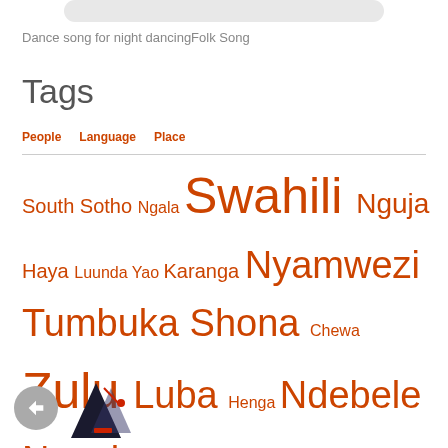Dance song for night dancingFolk Song
Tags
People  Language  Place
South Sotho Ngala Swahili Nguja Haya Luunda Yao Karanga Nyamwezi Tumbuka Shona Chewa Zulu Luba Henga Ndebele Nyanja Luo Shangaan Zezuru Nyoro Xhosa Sukuma Tonga Chopi English Ganda Sotho Bemba Nsenga